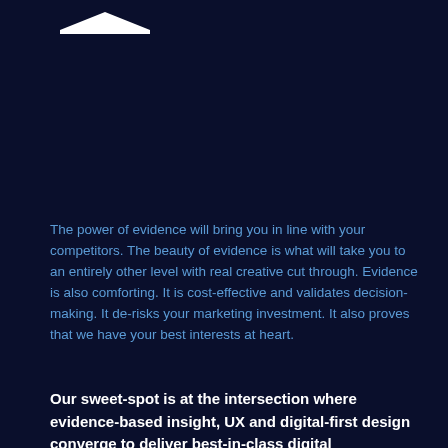[Figure (logo): White logo/icon at top left of page on dark navy background]
The power of evidence will bring you in line with your competitors. The beauty of evidence is what will take you to an entirely other level with real creative cut through. Evidence is also comforting. It is cost-effective and validates decision-making. It de-risks your marketing investment. It also proves that we have your best interests at heart.
Our sweet-spot is at the intersection where evidence-based insight, UX and digital-first design converge to deliver best-in-class digital